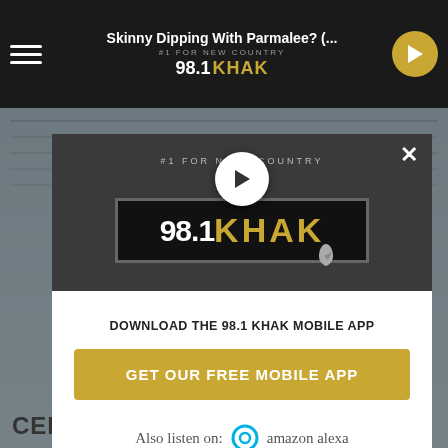Skinny Dipping With Parmalee? (... — 98.1 KHAK
[Figure (screenshot): 98.1 KHAK radio station mobile app popup overlay on a website. The modal contains: the station logo '98.1 KHAK' with '#1 FOR NEW COUNTRY' text, a play button, a close (X) button, text 'DOWNLOAD THE 98.1 KHAK MOBILE APP', a gold button 'GET OUR FREE MOBILE APP', and 'Also listen on: amazon alexa' text with Alexa logo icon.]
CEDAR VALLEY NATURE TRAIL